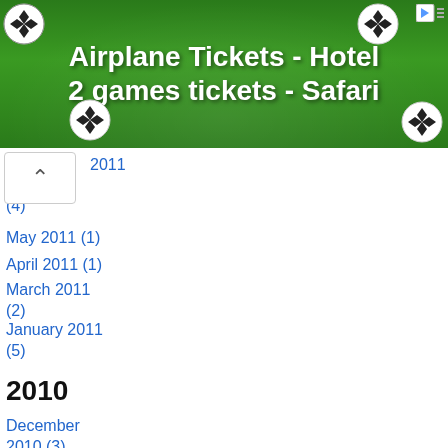[Figure (other): Green soccer-themed advertisement banner with text 'Airplane Tickets - Hotel 2 games tickets - Safari' and soccer ball graphics]
2011
(4)
May 2011 (1)
April 2011 (1)
March 2011 (2)
January 2011 (5)
2010
December 2010 (3)
October 2010 (4)
September 2010 (2)
August 2010 (2)
July 2010 (9)
June 2010 (2)
May 2010 (7)